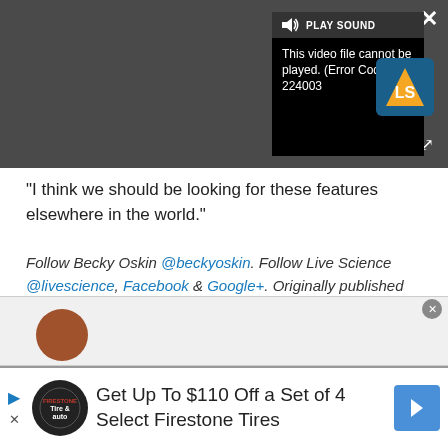[Figure (screenshot): Video player overlay showing error message 'This video file cannot be played. (Error Code: 224003)' with PLAY SOUND button, Live Science logo, close button, and expand button on dark background]
"I think we should be looking for these features elsewhere in the world."
Follow Becky Oskin @beckyoskin. Follow Live Science @livescience, Facebook & Google+. Originally published on Live Science.
[Figure (screenshot): Advertisement banner: Get Up To $110 Off a Set of 4 Select Firestone Tires, with Firestone Tire & Auto logo and navigation arrow icon]
[Figure (screenshot): Gray strip at bottom with partial author thumbnail]